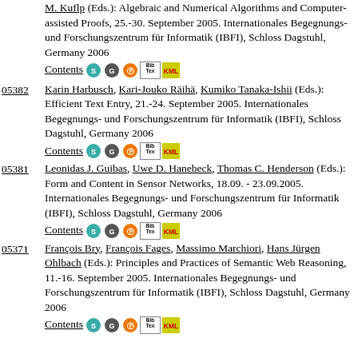M. Kuflp (Eds.): Algebraic and Numerical Algorithms and Computer-assisted Proofs, 25.-30. September 2005. Internationales Begegnungs- und Forschungszentrum für Informatik (IBFI), Schloss Dagstuhl, Germany 2006
Contents [icons]
05382 — Karin Harbusch, Kari-Jouko Räihä, Kumiko Tanaka-Ishii (Eds.): Efficient Text Entry, 21.-24. September 2005. Internationales Begegnungs- und Forschungszentrum für Informatik (IBFI), Schloss Dagstuhl, Germany 2006
Contents [icons]
05381 — Leonidas J. Guibas, Uwe D. Hanebeck, Thomas C. Henderson (Eds.): Form and Content in Sensor Networks, 18.09. - 23.09.2005. Internationales Begegnungs- und Forschungszentrum für Informatik (IBFI), Schloss Dagstuhl, Germany 2006
Contents [icons]
05371 — François Bry, François Fages, Massimo Marchiori, Hans Jürgen Ohlbach (Eds.): Principles and Practices of Semantic Web Reasoning, 11.-16. September 2005. Internationales Begegnungs- und Forschungszentrum für Informatik (IBFI), Schloss Dagstuhl, Germany 2006
Contents [icons]